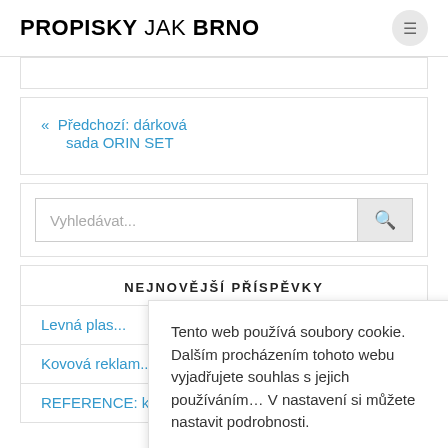PROPISKY JAK BRNO
« Předchozí: dárková sada ORIN SET
[Figure (screenshot): Search input box with magnifying glass icon and placeholder text 'Vyhledávat...']
NEJNOVĚJŠÍ PŘÍSPĚVKY
Levná plas...
Kovová reklam...
REFERENCE: k...
Tento web používá soubory cookie. Dalším procházením tohoto webu vyjadřujete souhlas s jejich používáním… V nastavení si můžete nastavit podrobnosti.